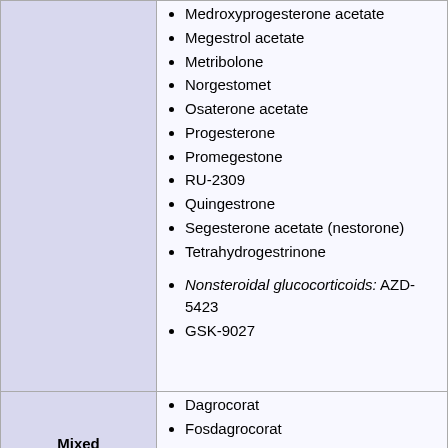Medroxyprogesterone acetate
Megestrol acetate
Metribolone
Norgestomet
Osaterone acetate
Progesterone
Promegestone
RU-2309
Quingestrone
Segesterone acetate (nestorone)
Tetrahydrogestrinone
Nonsteroidal glucocorticoids: AZD-5423
GSK-9027
Mixed (SEGRMs)
Dagrocorat
Fosdagrocorat
Mapracorat
7α-Hydroxy-DHEA